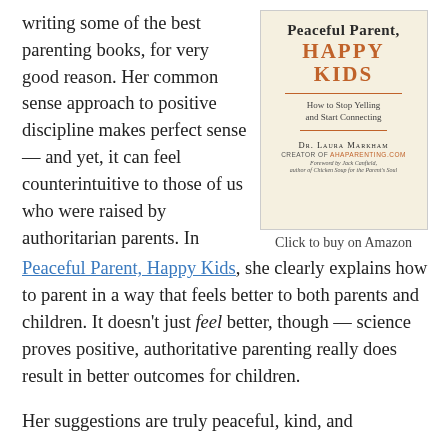writing some of the best parenting books, for very good reason. Her common sense approach to positive discipline makes perfect sense — and yet, it can feel counterintuitive to those of us who were raised by authoritarian parents. In
[Figure (illustration): Book cover of 'Peaceful Parent, Happy Kids: How to Stop Yelling and Start Connecting' by Dr. Laura Markham, creator of AhaParenting.com, with foreword by Jack Canfield]
Click to buy on Amazon
Peaceful Parent, Happy Kids, she clearly explains how to parent in a way that feels better to both parents and children. It doesn't just feel better, though — science proves positive, authoritative parenting really does result in better outcomes for children.
Her suggestions are truly peaceful, kind, and